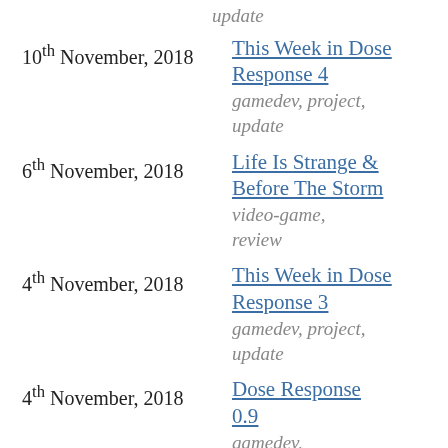update
10th November, 2018 | This Week in Dose Response 4 | gamedev, project, update
6th November, 2018 | Life Is Strange & Before The Storm | video-game, review
4th November, 2018 | This Week in Dose Response 3 | gamedev, project, update
4th November, 2018 | Dose Response 0.9 | gamedev,